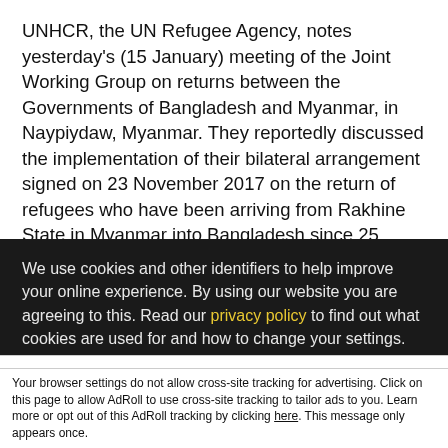UNHCR, the UN Refugee Agency, notes yesterday's (15 January) meeting of the Joint Working Group on returns between the Governments of Bangladesh and Myanmar, in Naypiydaw, Myanmar. They reportedly discussed the implementation of their bilateral arrangement signed on 23 November 2017 on the return of refugees who have been arriving from Rakhine State in Myanmar into Bangladesh since 25 August. UNHCR underscores the importance of the dialogue between the two States at the core of which is the right of refugees to voluntarily return home. To ensure that the refugees are heard and their protection guaranteed in Bangladesh and on return in Myanmar, we are willing to [be part of the dialogue...]
We use cookies and other identifiers to help improve your online experience. By using our website you are agreeing to this. Read our privacy policy to find out what cookies are used for and how to change your settings.
Accept and Close ×
Your browser settings do not allow cross-site tracking for advertising. Click on this page to allow AdRoll to use cross-site tracking to tailor ads to you. Learn more or opt out of this AdRoll tracking by clicking here. This message only appears once.